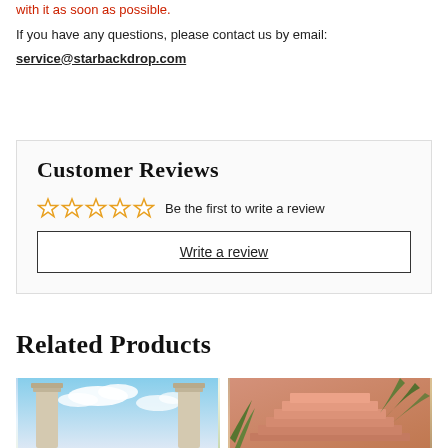with it as soon as possible.
If you have any questions, please contact us by email: service@starbackdrop.com
Customer Reviews
☆☆☆☆☆ Be the first to write a review
Write a review
Related Products
[Figure (photo): Two columns with blue sky and clouds backdrop photo]
[Figure (photo): Pink stone stairs with tropical plants backdrop photo]